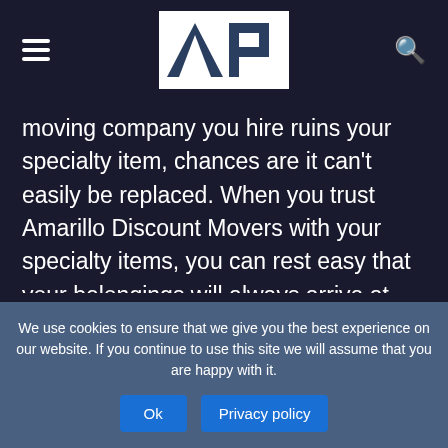AP logo navigation bar with hamburger menu and search icon
moving company you hire ruins your specialty item, chances are it can't easily be replaced. When you trust Amarillo Discount Movers with your specialty items, you can rest easy that your belongings will always arrive at their final destination. Not only will your items arrive, but you'll find them to be in the same condition as you expect. We take great care when handling all specialty items, from assessing the item to
We use cookies to ensure that we give you the best experience on our website. If you continue to use this site we will assume that you are happy with it.